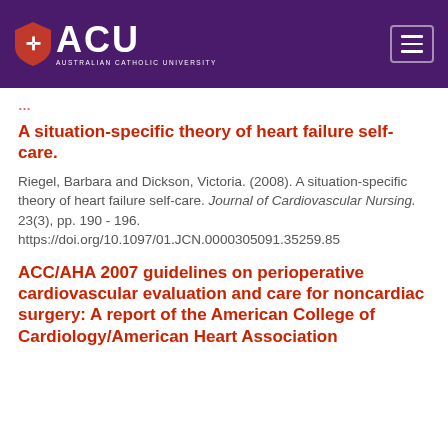ACU AUSTRALIAN CATHOLIC UNIVERSITY
A situation-specific theory of heart failure self-care.
Riegel, Barbara and Dickson, Victoria. (2008). A situation-specific theory of heart failure self-care. Journal of Cardiovascular Nursing. 23(3), pp. 190 - 196. https://doi.org/10.1097/01.JCN.0000305091.35259.85
ACC/AHA 2007 guidelines on perioperative cardiovascular evaluation and care for noncardiac surgery: A report of the American College of Cardiology/American Heart Association